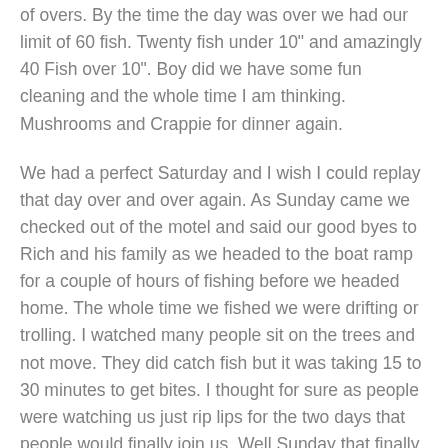of overs. By the time the day was over we had our limit of 60 fish. Twenty fish under 10" and amazingly 40 Fish over 10". Boy did we have some fun cleaning and the whole time I am thinking. Mushrooms and Crappie for dinner again.
We had a perfect Saturday and I wish I could replay that day over and over again. As Sunday came we checked out of the motel and said our good byes to Rich and his family as we headed to the boat ramp for a couple of hours of fishing before we headed home. The whole time we fished we were drifting or trolling. I watched many people sit on the trees and not move. They did catch fish but it was taking 15 to 30 minutes to get bites. I thought for sure as people were watching us just rip lips for the two days that people would finally join us. Well Sunday that finally happened. Instead of us being the only one fishing the deeper water the spider rigging boats were there in full force. It seemed everyone that were on the trees the day before, were circling